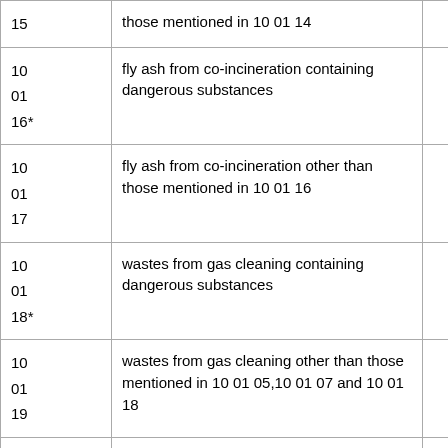| Code | Description | Mark |
| --- | --- | --- |
| 15 | those mentioned in 10 01 14 |  |
| 10 01 16* | fly ash from co-incineration containing dangerous substances | ü |
| 10 01 17 | fly ash from co-incineration other than those mentioned in 10 01 16 | X |
| 10 01 18* | wastes from gas cleaning containing dangerous substances | ü |
| 10 01 19 | wastes from gas cleaning other than those mentioned in 10 01 05,10 01 07 and 10 01 18 | X |
| 10 | sludges from on-site effluent treatment containing dangerous substances | ü |